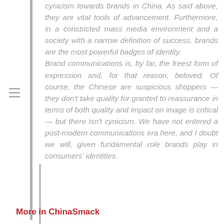cynicism towards brands in China. As said above, they are vital tools of advancement. Furthermore, in a constricted mass media environment and a society with a narrow definition of success, brands are the most powerful badges of identity. Brand communications is, by far, the freest form of expression and, for that reason, beloved. Of course, the Chinese are suspicious shoppers — they don't take quality for granted to reassurance in terms of both quality and impact on image is critical — but there isn't cynicism. We have not entered a post-modern communications era here, and I doubt we will, given fundamental role brands play in consumers' identities.
More in ChinaSmack